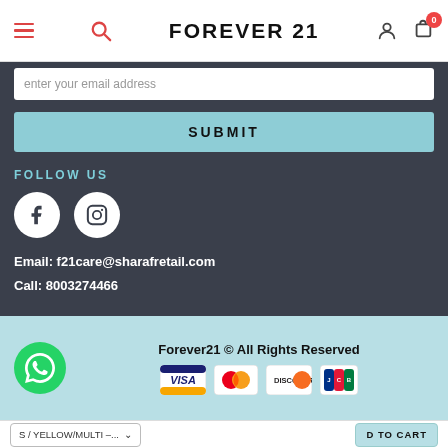FOREVER 21
enter your email address
SUBMIT
FOLLOW US
[Figure (other): Facebook and Instagram social media icons (white circles on dark background)]
Email: f21care@sharafretail.com
Call: 8003274466
Forever21 © All Rights Reserved
[Figure (other): Payment method logos: Visa, Mastercard, Discover, JCB]
S / YELLOW/MULTI -...
D TO CART